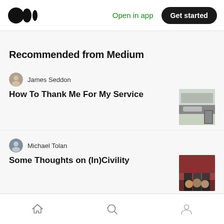Medium logo | Open in app | Get started
Recommended from Medium
James Seddon
How To Thank Me For My Service
Michael Tolan
Some Thoughts on (In)Civility
Konrad Buschbacher
Home | Search | Profile